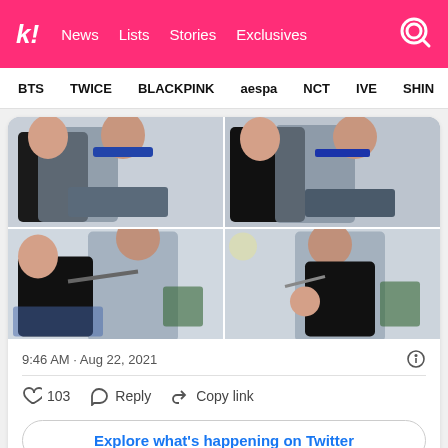k! News Lists Stories Exclusives
BTS TWICE BLACKPINK aespa NCT IVE SHIN...
[Figure (photo): Four-panel photo collage of two young men (K-pop artists) in casual clothing. Top panels show them sitting together looking at a phone. Bottom panels show them playfully wrestling or mock-fighting.]
9:46 AM · Aug 22, 2021
103   Reply   Copy link
Explore what's happening on Twitter